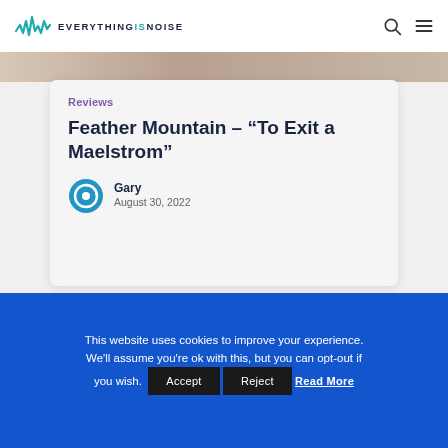EVERYTHING IS NOISE
[Figure (photo): Partial photo of a person visible at top of card]
Reviews
Feather Mountain – “To Exit a Maelstrom”
Gary
August 30, 2022
This website uses cookies to improve your experience. We'll assume you're ok with this, but you can opt-out if you wish.